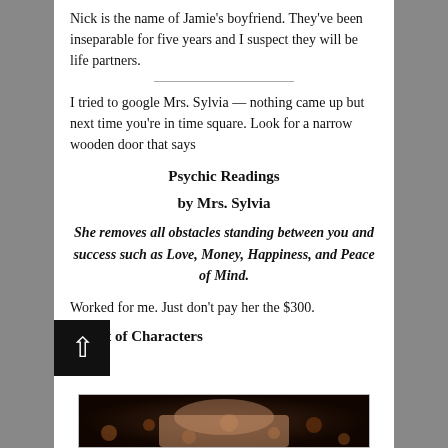Nick is the name of Jamie's boyfriend. They've been inseparable for five years and I suspect they will be life partners.
I tried to google Mrs. Sylvia — nothing came up but next time you're in time square. Look for a narrow wooden door that says
Psychic Readings
by Mrs. Sylvia
She removes all obstacles standing between you and success such as Love, Money, Happiness, and Peace of Mind.
Worked for me. Just don't pay her the $300.
Cast of Characters
[Figure (photo): Bottom portion of a photo showing a person's face cropped at top, with bokeh lights in background]